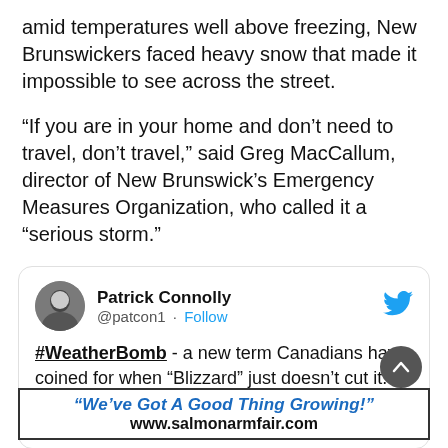amid temperatures well above freezing, New Brunswickers faced heavy snow that made it impossible to see across the street.
“If you are in your home and don’t need to travel, don’t travel,” said Greg MacCallum, director of New Brunswick’s Emergency Measures Organization, who called it a “serious storm.”
[Figure (screenshot): Embedded tweet from @patcon1 (Patrick Connolly) with Twitter bird logo. Tweet text: #WeatherBomb - a new term Canadians have coined for when "Blizzard" just doesn't cut it. (Side-note: will we ever get back to Beijing?) [text cuts off]]
"We've Got A Good Thing Growing!" www.salmonarmfair.com